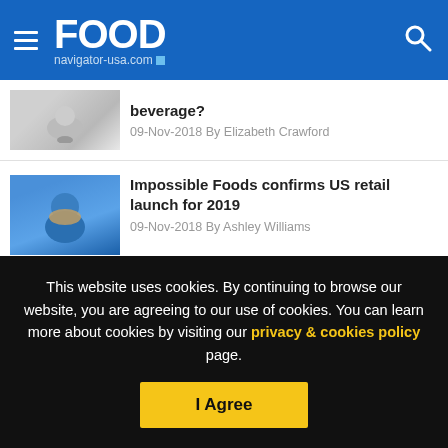FOOD navigator-usa.com
beverage?
09-Nov-2018 By Elizabeth Crawford
Impossible Foods confirms US retail launch for 2019
09-Nov-2018 By Ashley Williams
National Pork Board co-launches sustainability research program
This website uses cookies. By continuing to browse our website, you are agreeing to our use of cookies. You can learn more about cookies by visiting our privacy & cookies policy page.